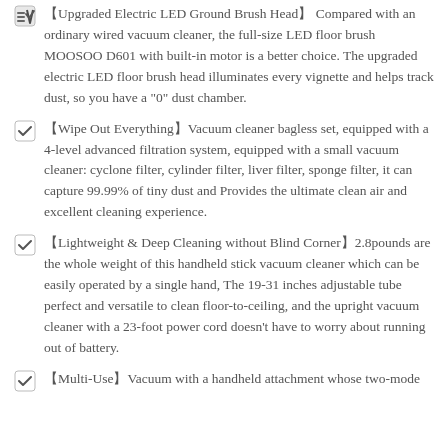【Upgraded Electric LED Ground Brush Head】 Compared with an ordinary wired vacuum cleaner, the full-size LED floor brush MOOSOO D601 with built-in motor is a better choice. The upgraded electric LED floor brush head illuminates every vignette and helps track dust, so you have a "0" dust chamber.
【Wipe Out Everything】Vacuum cleaner bagless set, equipped with a 4-level advanced filtration system, equipped with a small vacuum cleaner: cyclone filter, cylinder filter, liver filter, sponge filter, it can capture 99.99% of tiny dust and Provides the ultimate clean air and excellent cleaning experience.
【Lightweight & Deep Cleaning without Blind Corner】2.8pounds are the whole weight of this handheld stick vacuum cleaner which can be easily operated by a single hand, The 19-31 inches adjustable tube perfect and versatile to clean floor-to-ceiling, and the upright vacuum cleaner with a 23-foot power cord doesn't have to worry about running out of battery.
【Multi-Use】Vacuum with a handheld attachment whose two-mode